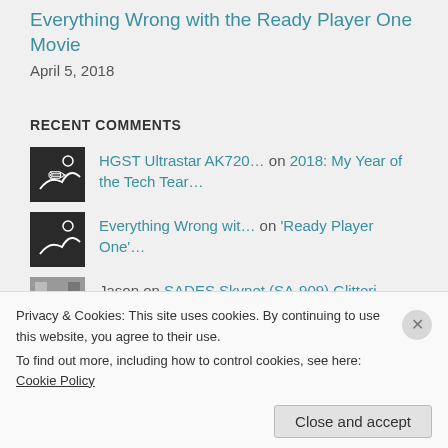Everything Wrong with the Ready Player One Movie
April 5, 2018
RECENT COMMENTS
HGST Ultrastar AK720… on 2018: My Year of the Tech Tear…
Everything Wrong wit… on 'Ready Player One'…
Jason on SADES Skynet (SA-909) Glitteri…
Kristeen R. on Sorry, Daniel West. Airscape:…
Privacy & Cookies: This site uses cookies. By continuing to use this website, you agree to their use.
To find out more, including how to control cookies, see here: Cookie Policy
Close and accept